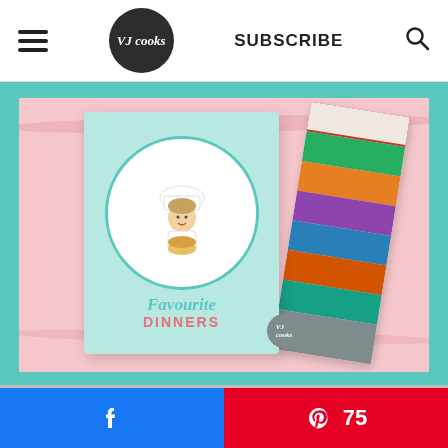VJ cooks | SUBSCRIBE
[Figure (illustration): VJ Cooks Favourite Dinners cookbook cover displayed on a teal/pink background, showing a cartoon chef character holding a bowl with the text Favourite DINNERS, alongside pages of food photos fanned out to the right.]
[Figure (other): Facebook share button (blue) and Pinterest save button (red) showing count 75]